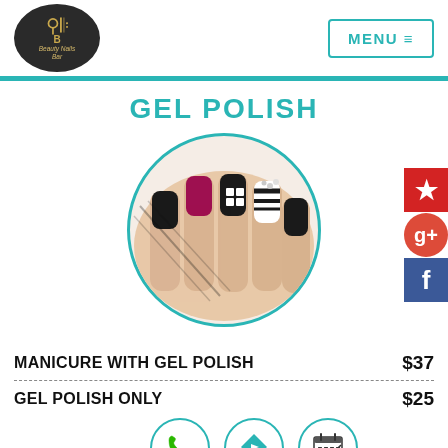[Figure (logo): Beauty Nails Bar circular logo with wings on dark background]
MENU ≡
[Figure (illustration): Teal horizontal divider bar]
GEL POLISH
[Figure (photo): Circular photo of nail art showing black, white, and dark pink/magenta gel polish nail designs]
[Figure (logo): Yelp social media icon]
[Figure (logo): Google+ social media icon]
[Figure (logo): Facebook social media icon]
MANICURE WITH GEL POLISH    $37
GEL POLISH ONLY    $25
[Figure (infographic): Three circular teal-bordered icons: phone, directions, and book appointment]
PINK AND WHITE ACRYLIC